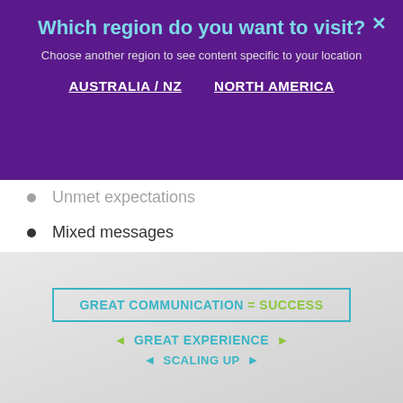Which region do you want to visit?
Choose another region to see content specific to your location
AUSTRALIA / NZ   NORTH AMERICA
Unmet expectations
Mixed messages
Unresponsive staff
High stress levels
Confusion
[Figure (infographic): Gray background infographic showing: 'GREAT COMMUNICATION = SUCCESS' in a teal bordered box, below that '< GREAT EXPERIENCE >' with teal and green text, and partially visible '< SCALING UP >' at the bottom]